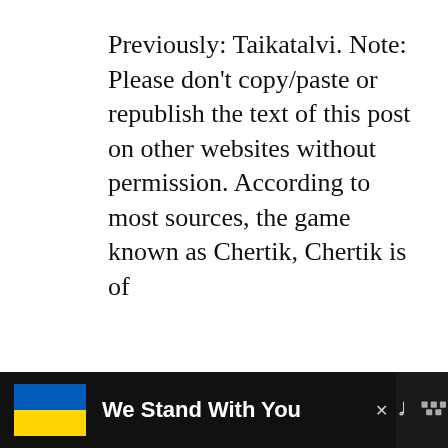Previously: Taikatalvi. Note: Please don't copy/paste or republish the text of this post on other websites without permission. According to most sources, the game known as Chertik, Chertik is of
Continue Reading >
[Figure (infographic): Share button icon (circular button with share/network symbol)]
[Figure (infographic): What's Next panel with a circular avatar image of a dark figure, label 'WHAT'S NEXT →' in orange/teal, and text '14 Haunted Phone...']
[Figure (infographic): Advertisement banner at bottom: black background with Ukrainian flag (blue and yellow), bold white text 'We Stand With You', close X button, and Tidal logo on right]